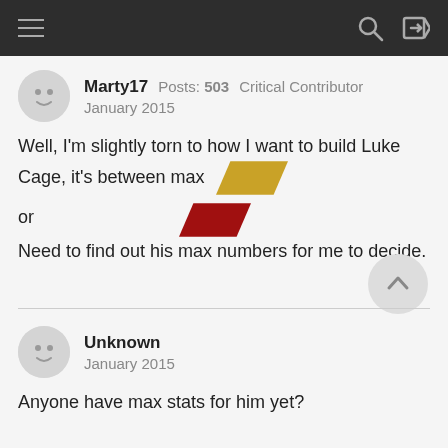Navigation bar with hamburger menu, search icon, and login icon
Marty17   Posts: 503   Critical Contributor
January 2015
Well, I'm slightly torn to how I want to build Luke Cage, it's between max [yellow tile image] or [red tile image] Need to find out his max numbers for me to decide.
Unknown
January 2015
Anyone have max stats for him yet?